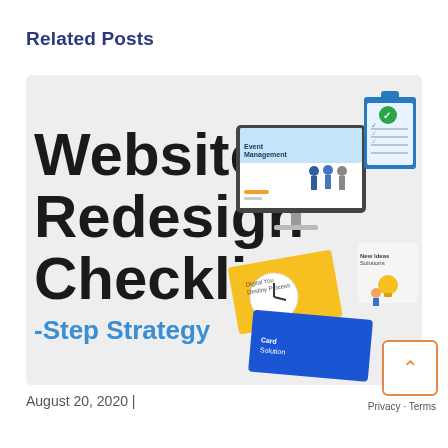Related Posts
[Figure (illustration): Website Redesign Checklist illustrated card showing bold text 'Website Redesign Checklist -Step Strategy' on left with a monitor, clipboard checklist, and design materials on the right against a light grey background]
August 20, 2020 |